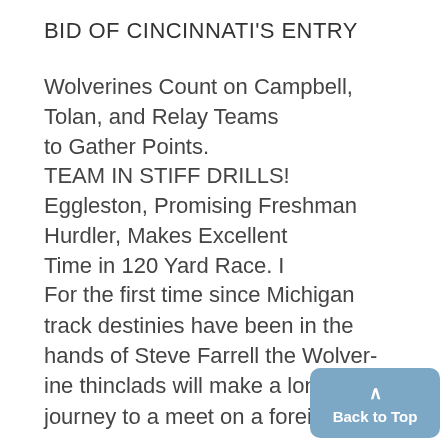BID OF CINCINNATI'S ENTRY
Wolverines Count on Campbell, Tolan, and Relay Teams to Gather Points.
TEAM IN STIFF DRILLS!
Eggleston, Promising Freshman Hurdler, Makes Excellent Time in 120 Yard Race. I
For the first time since Michigan track destinies have been in the hands of Steve Farrell the Wolverine thinclads will make a long journey to a meet on a foreign